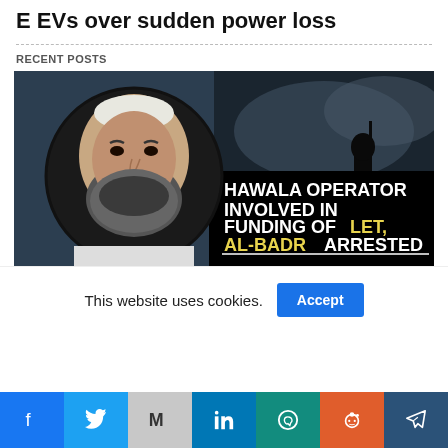E EVs over sudden power loss
RECENT POSTS
[Figure (photo): News graphic showing a bearded man's headshot in a circle overlay on a dark background with armed silhouette, with text: HAWALA OPERATOR INVOLVED IN FUNDING OF LET, AL-BADR ARRESTED]
This website uses cookies.
Accept
Social share buttons: Facebook, Twitter, Gmail, LinkedIn, WhatsApp, Reddit, Telegram